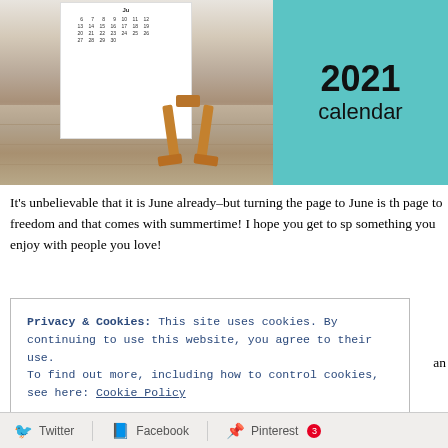[Figure (photo): Photo of a 2021 desk calendar displayed on a small wooden easel on a wood-grain surface. A teal/mint colored card shows '2021 calendar' text. Another white calendar page with month grid is visible on the left.]
It's unbelievable that it is June already–but turning the page to June is the page to freedom and that comes with summertime! I hope you get to sp something you enjoy with people you love!
Privacy & Cookies: This site uses cookies. By continuing to use this website, you agree to their use.
To find out more, including how to control cookies, see here: Cookie Policy
Close and accept
Twitter | Facebook | Pinterest